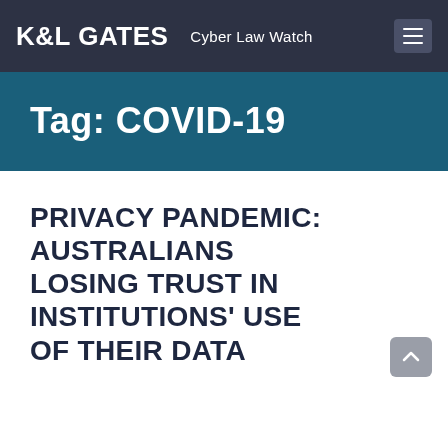K&L GATES  Cyber Law Watch
Tag: COVID-19
PRIVACY PANDEMIC: AUSTRALIANS LOSING TRUST IN INSTITUTIONS' USE OF THEIR DATA